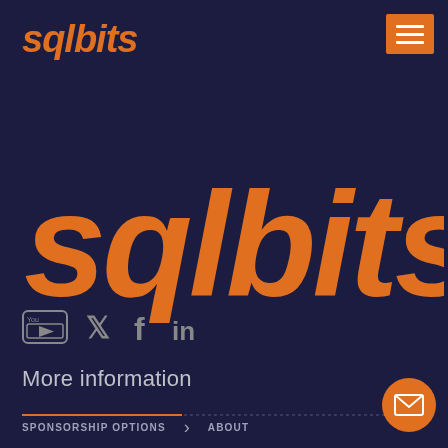sqlbits
[Figure (logo): SQLBits large italic bold orange logo text on dark navy background]
[Figure (infographic): Social media icons: YouTube, Twitter, Facebook, LinkedIn in grey on dark navy background]
More information
SPONSORSHIP OPTIONS > ABOUT